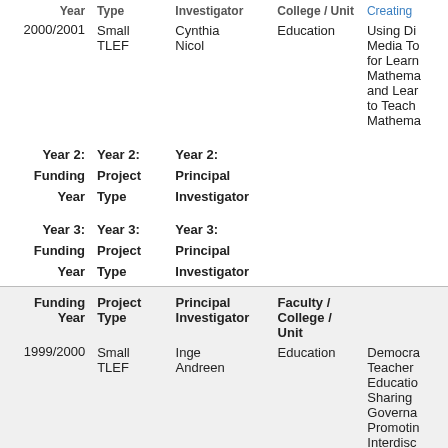| Funding Year | Project Type | Principal Investigator | Faculty / College / Unit | Title |
| --- | --- | --- | --- | --- |
| 2000/2001 | Small TLEF | Cynthia Nicol | Education | Creating... Using Di... Media To... for Learn... Mathema... and Lear... to Teach Mathema... |
| Year 2: Funding Year | Year 2: Project Type | Year 2: Principal Investigator |  |  |
| Year 3: Funding Year | Year 3: Project Type | Year 3: Principal Investigator |  |  |
| Funding Year | Project Type | Principal Investigator | Faculty / College / Unit | Title |
| --- | --- | --- | --- | --- |
| 1999/2000 | Small TLEF | Inge Andreen | Education | Democra... Teacher Educatio... Sharing Governa... Promotin... Interdisc... Within a... |
| Year 2: Funding Year | Year 2: Project Type | Year 2: Principal Investigator |  |  |
| 2000/2001 | Small TLEF | Anthony |  | Within a... |